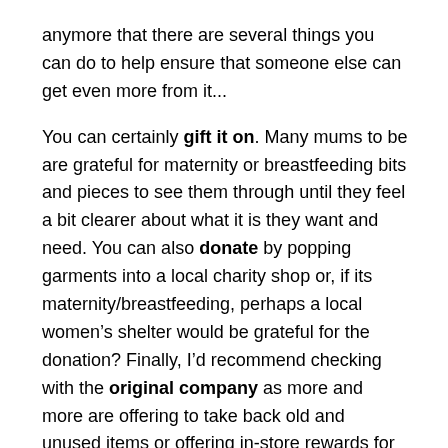anymore that there are several things you can do to help ensure that someone else can get even more from it...
You can certainly gift it on. Many mums to be are grateful for maternity or breastfeeding bits and pieces to see them through until they feel a bit clearer about what it is they want and need. You can also donate by popping garments into a local charity shop or, if its maternity/breastfeeding, perhaps a local women's shelter would be grateful for the donation? Finally, I'd recommend checking with the original company as more and more are offering to take back old and unused items or offering in-store rewards for returns and recycling!